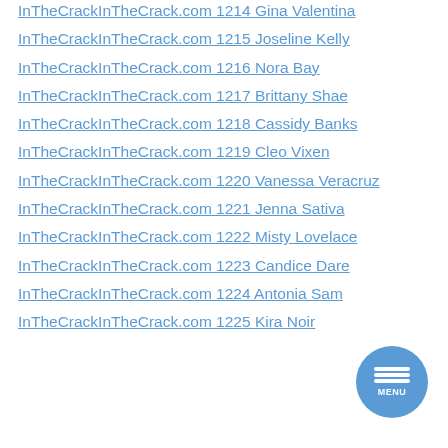InTheCrackInTheCrack.com 1214 Gina Valentina
InTheCrackInTheCrack.com 1215 Joseline Kelly
InTheCrackInTheCrack.com 1216 Nora Bay
InTheCrackInTheCrack.com 1217 Brittany Shae
InTheCrackInTheCrack.com 1218 Cassidy Banks
InTheCrackInTheCrack.com 1219 Cleo Vixen
InTheCrackInTheCrack.com 1220 Vanessa Veracruz
InTheCrackInTheCrack.com 1221 Jenna Sativa
InTheCrackInTheCrack.com 1222 Misty Lovelace
InTheCrackInTheCrack.com 1223 Candice Dare
InTheCrackInTheCrack.com 1224 Antonia Sam
InTheCrackInTheCrack.com 1225 Kira Noir